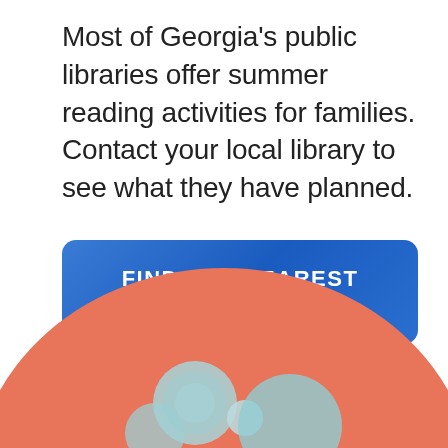Most of Georgia's public libraries offer summer reading activities for families. Contact your local library to see what they have planned.
FIND THE NEAREST LIBRARY
[Figure (illustration): Bottom portion of a circular orange/salmon-colored illustration featuring light blue bubble or circle shapes, partially cropped at the bottom of the page.]